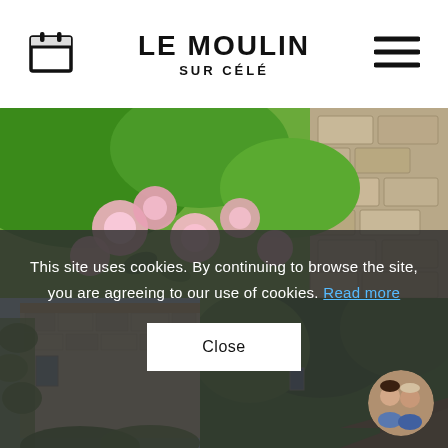LE MOULIN SUR CÉLÉ
[Figure (photo): Photo of pink roses climbing over a stone wall with green foliage]
[Figure (photo): Photo of a stone building (Le Moulin) surrounded by green trees]
This site uses cookies. By continuing to browse the site, you are agreeing to our use of cookies. Read more
Close